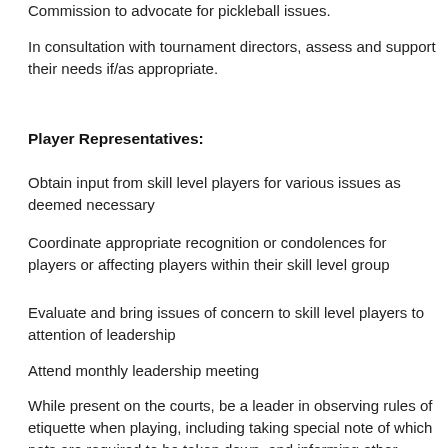Commission to advocate for pickleball issues.
In consultation with tournament directors, assess and support their needs if/as appropriate.
Player Representatives:
Obtain input from skill level players for various issues as deemed necessary
Coordinate appropriate recognition or condolences for players or affecting players within their skill level group
Evaluate and bring issues of concern to skill level players to attention of leadership
Attend monthly leadership meeting
While present on the courts, be a leader in observing rules of etiquette when playing, including taking special note of which nets are required to be taken down, and informing other players